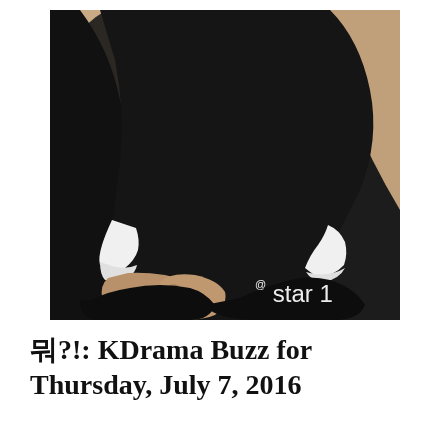[Figure (photo): A person dressed in black clothing with white shirt cuffs visible, seated with hands resting on lap, photographed from mid-torso down. Background is a warm beige/tan tone. @star1 watermark in white text appears in the lower right corner of the image.]
뭐?!: KDrama Buzz for Thursday, July 7, 2016